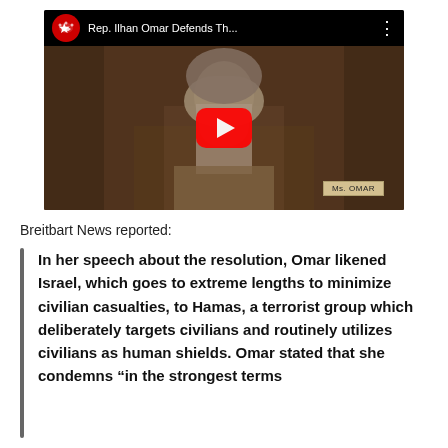[Figure (screenshot): YouTube video thumbnail showing Rep. Ilhan Omar at a congressional hearing, with a red YouTube play button overlay. The video title reads 'Rep. Ilhan Omar Defends Th...' with a Republican elephant channel icon.]
Breitbart News reported:
In her speech about the resolution, Omar likened Israel, which goes to extreme lengths to minimize civilian casualties, to Hamas, a terrorist group which deliberately targets civilians and routinely utilizes civilians as human shields. Omar stated that she condemns “in the strongest terms